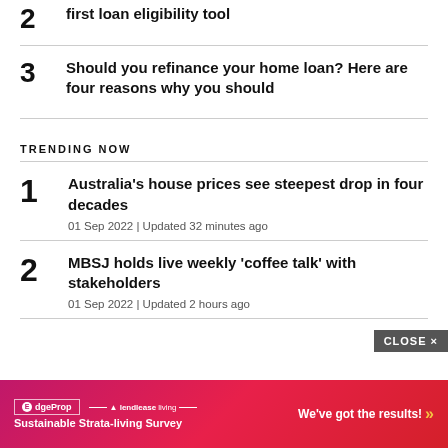2 first loan eligibility tool
3 Should you refinance your home loan? Here are four reasons why you should
TRENDING NOW
1 Australia’s house prices see steepest drop in four decades
01 Sep 2022 | Updated 32 minutes ago
2 MBSJ holds live weekly ‘coffee talk’ with stakeholders
01 Sep 2022 | Updated 2 hours ago
[Figure (infographic): Advertisement banner: EdgeProp and Lendlease Living Sustainable Strata-living Survey with text 'We've got the results!' and orange chevrons. CLOSE button in gray.]